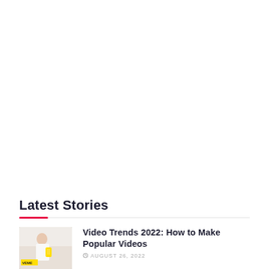Latest Stories
[Figure (photo): Thumbnail image of a woman holding a yellow phone, associated with the article about Video Trends 2022]
Video Trends 2022: How to Make Popular Videos
AUGUST 26, 2022